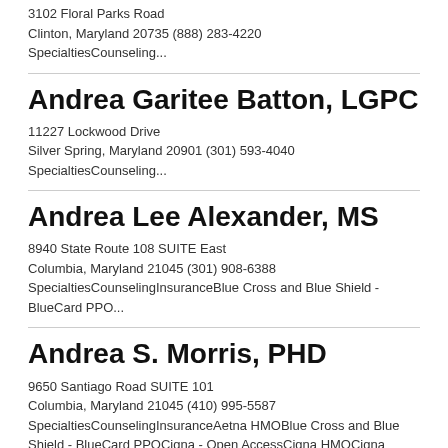3102 Floral Parks Road
Clinton, Maryland 20735 (888) 283-4220
SpecialtiesCounseling...
Andrea Garitee Batton, LGPC
11227 Lockwood Drive
Silver Spring, Maryland 20901 (301) 593-4040
SpecialtiesCounseling...
Andrea Lee Alexander, MS
8940 State Route 108 SUITE East
Columbia, Maryland 21045 (301) 908-6388
SpecialtiesCounselingInsuranceBlue Cross and Blue Shield - BlueCard PPO...
Andrea S. Morris, PHD
9650 Santiago Road SUITE 101
Columbia, Maryland 21045 (410) 995-5587
SpecialtiesCounselingInsuranceAetna HMOBlue Cross and Blue Shield - BlueCard PPOCigna - Open AccessCigna HMOCigna PPOFirst Health PPOHumana - Choice Care PPOMultiPlan - PHCS